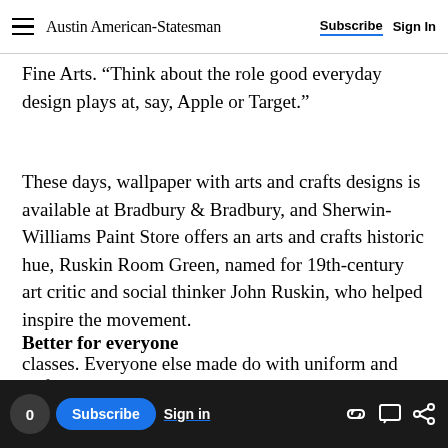Austin American-Statesman | Subscribe | Sign In
Fine Arts. “Think about the role good everyday design plays at, say, Apple or Target.”
These days, wallpaper with arts and crafts designs is available at Bradbury & Bradbury, and Sherwin-Williams Paint Store offers an arts and crafts historic hue, Ruskin Room Green, named for 19th-century art critic and social thinker John Ruskin, who helped inspire the movement.
Better for everyone
Before the 1850s, good design in America and
classes. Everyone else made do with uniform and